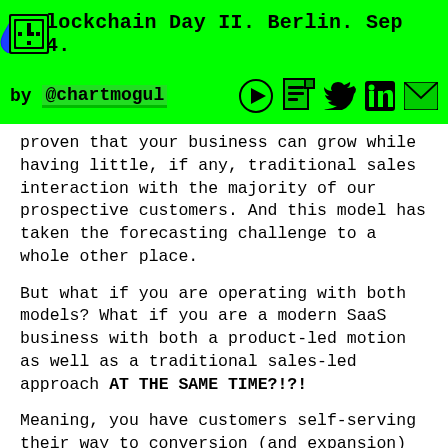Blockchain Day II. Berlin. Sep 14.
by @chartmogul
proven that your business can grow while having little, if any, traditional sales interaction with the majority of our prospective customers. And this model has taken the forecasting challenge to a whole other place.
But what if you are operating with both models? What if you are a modern SaaS business with both a product-led motion as well as a traditional sales-led approach AT THE SAME TIME?!?!
Meaning, you have customers self-serving their way to conversion (and expansion) AND you have a sales team that is selling into higher value accounts in a